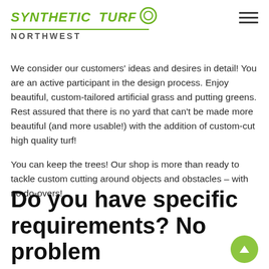SYNTHETIC TURF NORTHWEST
We consider our customers' ideas and desires in detail! You are an active participant in the design process. Enjoy beautiful, custom-tailored artificial grass and putting greens. Rest assured that there is no yard that can't be made more beautiful (and more usable!) with the addition of custom-cut high quality turf!
You can keep the trees! Our shop is more than ready to tackle custom cutting around objects and obstacles – with no do-overs!
Do you have specific requirements? No problem